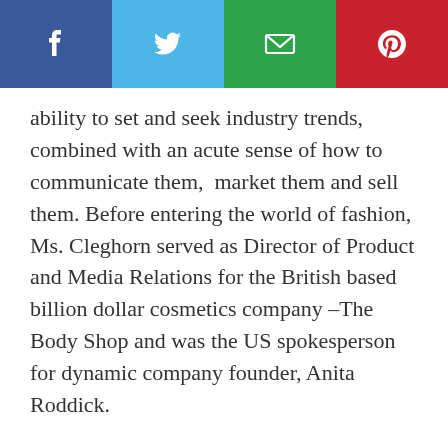[Figure (other): Social media sharing bar with four buttons: Facebook (dark blue), Twitter (light blue), Email/envelope (green), Pinterest (red)]
ability to set and seek industry trends, combined with an acute sense of how to communicate them,  market them and sell them. Before entering the world of fashion, Ms. Cleghorn served as Director of Product and Media Relations for the British based billion dollar cosmetics company –The Body Shop and was the US spokesperson for dynamic company founder, Anita Roddick.
Ms. Cleghorn has also served as guest lecturer on topics from advertising to body image and skin care at prestigious institutions such as Harvard University's Kennedy School of Government and FIT/Fashion Institute of Technology.  DLPR brands have been featured in all major publications globally, as well as on mainstream media and a wide array of television